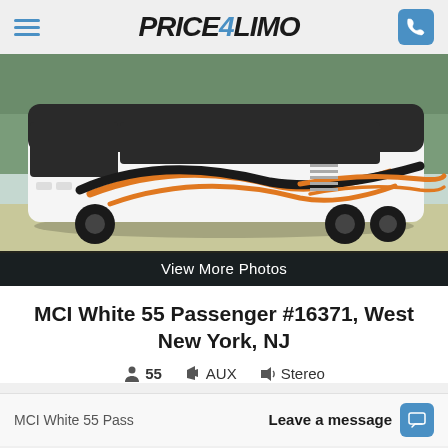Price4Limo
[Figure (photo): White MCI motorcoach bus with orange and black swoosh graphic design on the side, parked on pavement with trees in background.]
View More Photos
MCI White 55 Passenger #16371, West New York, NJ
55  AUX  Stereo
MCI White 55 Pass
Leave a message